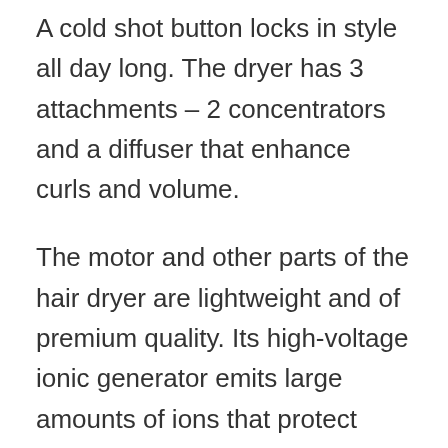A cold shot button locks in style all day long. The dryer has 3 attachments – 2 concentrators and a diffuser that enhance curls and volume.
The motor and other parts of the hair dryer are lightweight and of premium quality. Its high-voltage ionic generator emits large amounts of ions that protect your hair and seal in moisture for perfectly silky results and a gorgeous shine.
This versatile 1875 watt hair dryer will dry: